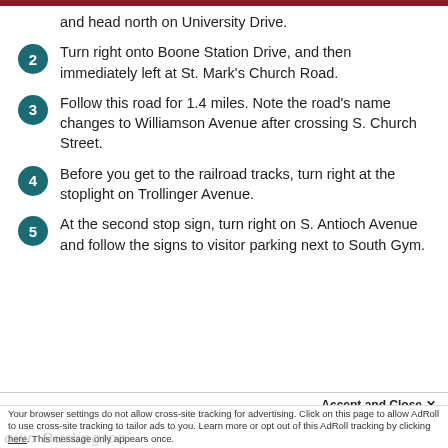and head north on University Drive.
2 Turn right onto Boone Station Drive, and then immediately left at St. Mark's Church Road.
3 Follow this road for 1.4 miles. Note the road's name changes to Williamson Avenue after crossing S. Church Street.
4 Before you get to the railroad tracks, turn right at the stoplight on Trollinger Avenue.
5 At the second stop sign, turn right on S. Antioch Avenue and follow the signs to visitor parking next to South Gym.
Accept and Close ✕
Your browser settings do not allow cross-site tracking for advertising. Click on this page to allow AdRoll to use cross-site tracking to tailor ads to you. Learn more or opt out of this AdRoll tracking by clicking here. This message only appears once.